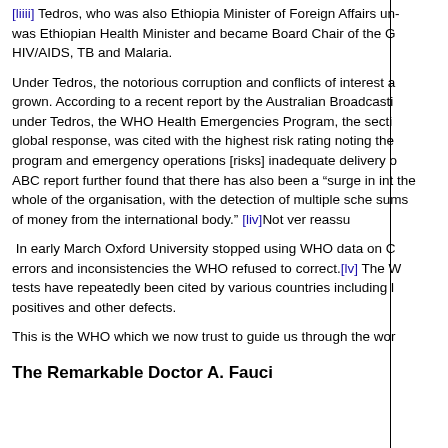[liiii] Tedros, who was also Ethiopia Minister of Foreign Affairs un... was Ethiopian Health Minister and became Board Chair of the G... HIV/AIDS, TB and Malaria.
Under Tedros, the notorious corruption and conflicts of interest a... grown. According to a recent report by the Australian Broadcasti... under Tedros, the WHO Health Emergencies Program, the secti... global response, was cited with the highest risk rating noting the... program and emergency operations [risks] inadequate delivery o... ABC report further found that there has also been a "surge in int... the whole of the organisation, with the detection of multiple sche... sums of money from the international body." [liv]Not very reassu...
In early March Oxford University stopped using WHO data on C... errors and inconsistencies the WHO refused to correct.[lv] The W... tests have repeatedly been cited by various countries including l... positives and other defects.
This is the WHO which we now trust to guide us through the wor...
The Remarkable Doctor A. Fauci